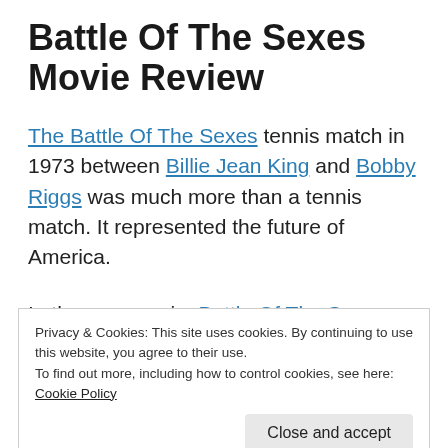Battle Of The Sexes Movie Review
The Battle Of The Sexes tennis match in 1973 between Billie Jean King and Bobby Riggs was much more than a tennis match. It represented the future of America.
In the new movie, Battle Of The Sexes, Emma Stone plays Billie Jean King and Steve Carell
Privacy & Cookies: This site uses cookies. By continuing to use this website, you agree to their use.
To find out more, including how to control cookies, see here: Cookie Policy
Close and accept
of b li di h i